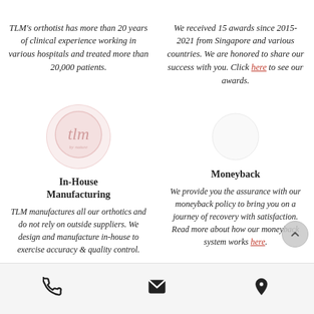TLM's orthotist has more than 20 years of clinical experience working in various hospitals and treated more than 20,000 patients.
We received 15 awards since 2015-2021 from Singapore and various countries. We are honored to share our success with you. Click here to see our awards.
[Figure (logo): Circular logo with stylized letters, pink/red tones, light background]
In-House Manufacturing
TLM manufactures all our orthotics and do not rely on outside suppliers. We design and manufacture in-house to exercise accuracy & quality control.
Moneyback
We provide you the assurance with our moneyback policy to bring you on a journey of recovery with satisfaction. Read more about how our moneyback system works here.
[Figure (infographic): Bottom bar with phone, email, and location icons]